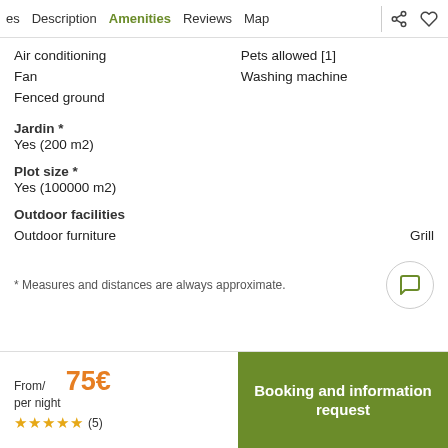es  Description  Amenities  Reviews  Map
Air conditioning
Fan
Fenced ground
Pets allowed [1]
Washing machine
Jardin *
Yes (200 m2)
Plot size *
Yes (100000 m2)
Outdoor facilities
Outdoor furniture
Grill
* Measures and distances are always approximate.
From/ per night  75€
★★★★★ (5)
Booking and information request